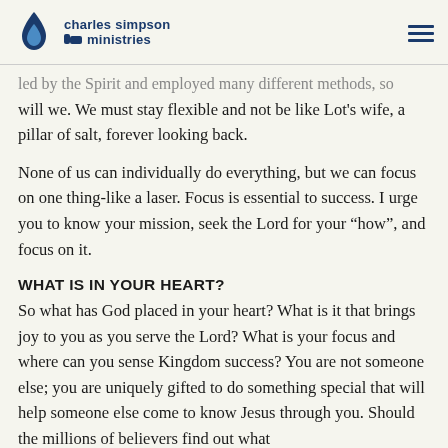charles simpson ministries
led by the Spirit and employed many different methods, so will we. We must stay flexible and not be like Lot's wife, a pillar of salt, forever looking back.
None of us can individually do everything, but we can focus on one thing-like a laser. Focus is essential to success. I urge you to know your mission, seek the Lord for your “how”, and focus on it.
WHAT IS IN YOUR HEART?
So what has God placed in your heart? What is it that brings joy to you as you serve the Lord? What is your focus and where can you sense Kingdom success? You are not someone else; you are uniquely gifted to do something special that will help someone else come to know Jesus through you. Should the millions of believers find out what